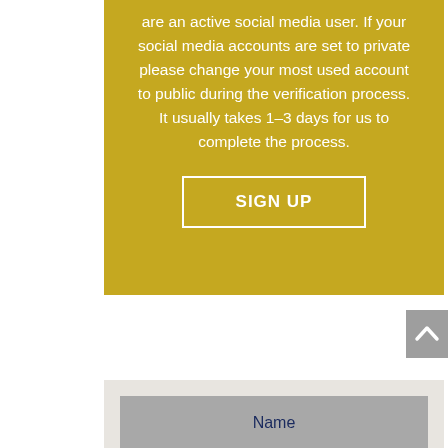are an active social media user. If your social media accounts are set to private please change your most used account to public during the verification process. It usually takes 1-3 days for us to complete the process.
SIGN UP
[Figure (other): Gray scroll-to-top button with upward chevron arrow]
Name